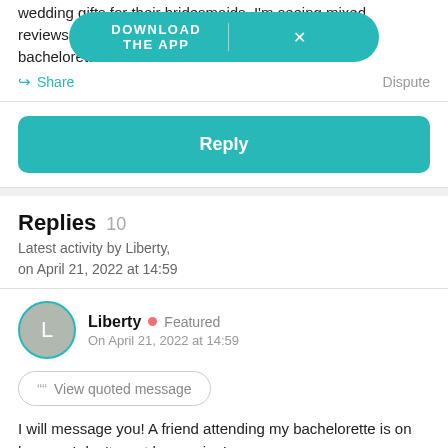wedding gifts for their bridesmaids. I'm seeing mixed reviews on [DOWNLOAD THE APP banner] n their bachelorette weekend.
Share   Dispute
Reply
Replies 10
Latest activity by Liberty,
on April 21, 2022 at 14:59
Liberty • Featured
On April 21, 2022 at 14:59
View quoted message
I will message you! A friend attending my bachelorette is on here so I don't want her seeing!